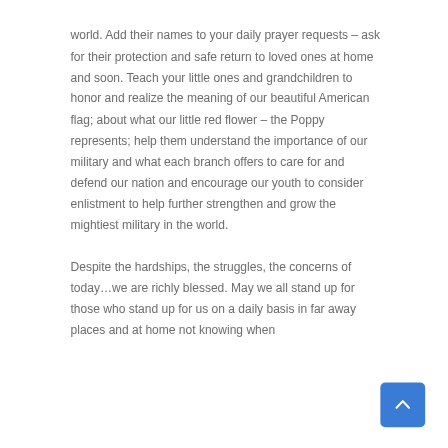world. Add their names to your daily prayer requests – ask for their protection and safe return to loved ones at home and soon. Teach your little ones and grandchildren to honor and realize the meaning of our beautiful American flag; about what our little red flower – the Poppy represents; help them understand the importance of our military and what each branch offers to care for and defend our nation and encourage our youth to consider enlistment to help further strengthen and grow the mightiest military in the world.
Despite the hardships, the struggles, the concerns of today…we are richly blessed. May we all stand up for those who stand up for us on a daily basis in far away places and at home not knowing when